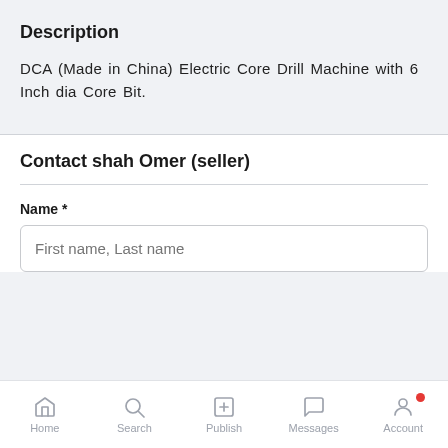Description
DCA (Made in China) Electric Core Drill Machine with 6 Inch dia Core Bit.
Contact shah Omer (seller)
Name *
First name, Last name
Home  Search  Publish  Messages  Account